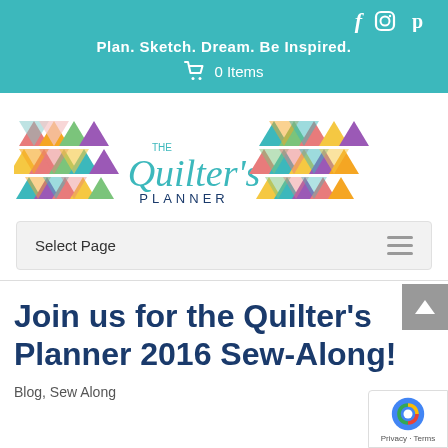Plan. Sketch. Dream. Be Inspired. | 0 Items
[Figure (logo): The Quilter's Planner logo with colorful geometric triangle patterns on both sides and decorative script text]
Select Page
Join us for the Quilter's Planner 2016 Sew-Along!
Blog, Sew Along